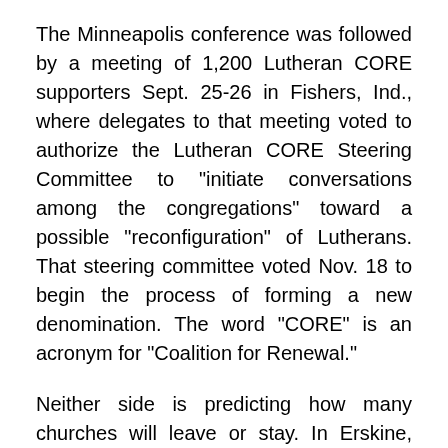The Minneapolis conference was followed by a meeting of 1,200 Lutheran CORE supporters Sept. 25-26 in Fishers, Ind., where delegates to that meeting voted to authorize the Lutheran CORE Steering Committee to "initiate conversations among the congregations" toward a possible "reconfiguration" of Lutherans. That steering committee voted Nov. 18 to begin the process of forming a new denomination. The word "CORE" is an acronym for "Coalition for Renewal."
Neither side is predicting how many churches will leave or stay. In Erskine, Minn., 80 percent of Rodnes Lutheran Church members voted Oct. 18 to leave the ELCA, the INFORUM.com website reported. But in Waseca, Minn., Nov. 22, 77 percent of Grace Lutheran Church members voted to stay, the Waseca County News newspaper